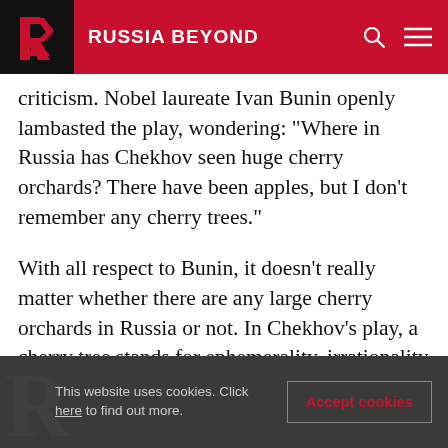RUSSIA BEYOND
criticism. Nobel laureate Ivan Bunin openly lambasted the play, wondering: “Where in Russia has Chekhov seen huge cherry orchards? There have been apples, but I don’t remember any cherry trees.”
With all respect to Bunin, it doesn’t really matter whether there are any large cherry orchards in Russia or not. In Chekhov’s play, a cherry tree stands for ephemerality, irrationality and frailty of life. Chekhov’s plays shun conventionality. ‘The Cherry Orchard’ even more so.
This website uses cookies. Click here to find out more. Accept cookies